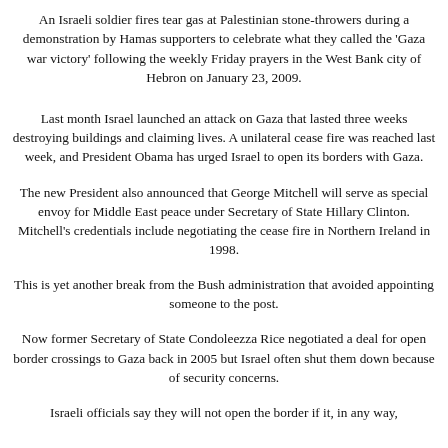An Israeli soldier fires tear gas at Palestinian stone-throwers during a demonstration by Hamas supporters to celebrate what they called the 'Gaza war victory' following the weekly Friday prayers in the West Bank city of Hebron on January 23, 2009.
Last month Israel launched an attack on Gaza that lasted three weeks destroying buildings and claiming lives. A unilateral cease fire was reached last week, and President Obama has urged Israel to open its borders with Gaza.
The new President also announced that George Mitchell will serve as special envoy for Middle East peace under Secretary of State Hillary Clinton. Mitchell's credentials include negotiating the cease fire in Northern Ireland in 1998.
This is yet another break from the Bush administration that avoided appointing someone to the post.
Now former Secretary of State Condoleezza Rice negotiated a deal for open border crossings to Gaza back in 2005 but Israel often shut them down because of security concerns.
Israeli officials say they will not open the border if it, in any way,